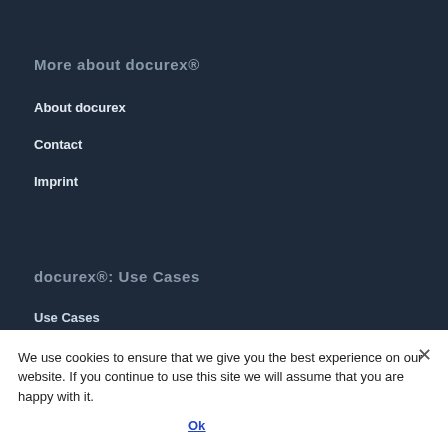More about docurex®
About docurex
Contact
Imprint
docurex®: Use Cases
Use Cases
Data Room
Document Management
Transaction room
Real Estate Management
We use cookies to ensure that we give you the best experience on our website. If you continue to use this site we will assume that you are happy with it.
Ok